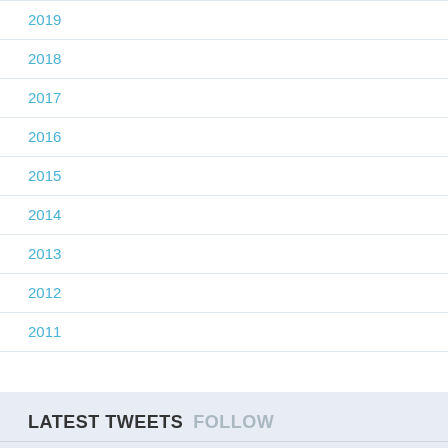2019
2018
2017
2016
2015
2014
2013
2012
2011
LATEST TWEETS FOLLOW
@AndrewYNg Hi Andrew, reaching out from Speakers